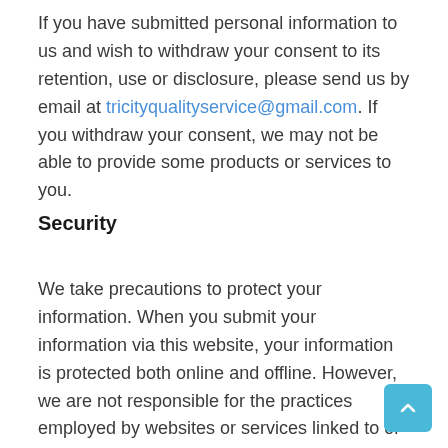If you have submitted personal information to us and wish to withdraw your consent to its retention, use or disclosure, please send us by email at tricityqualityservice@gmail.com. If you withdraw your consent, we may not be able to provide some products or services to you.
Security
We take precautions to protect your information. When you submit your information via this website, your information is protected both online and offline. However, we are not responsible for the practices employed by websites or services linked to or from this website, including the information or content contained therein.